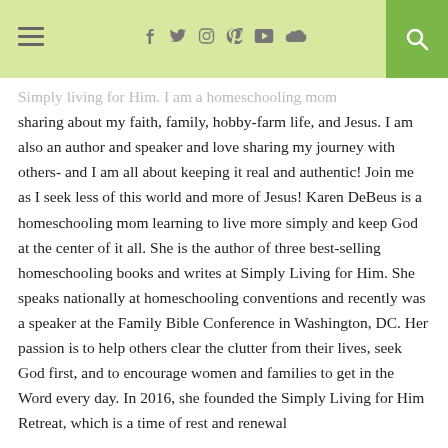≡  [social icons: facebook, twitter, instagram, pinterest, youtube, soundcloud]  [search]
Simply Living for Him. I am a homeschooling mom sharing about my faith, family, hobby-farm life, and Jesus. I am also an author and speaker and love sharing my journey with others- and I am all about keeping it real and authentic! Join me as I seek less of this world and more of Jesus! Karen DeBeus is a homeschooling mom learning to live more simply and keep God at the center of it all. She is the author of three best-selling homeschooling books and writes at Simply Living for Him. She speaks nationally at homeschooling conventions and recently was a speaker at the Family Bible Conference in Washington, DC. Her passion is to help others clear the clutter from their lives, seek God first, and to encourage women and families to get in the Word every day. In 2016, she founded the Simply Living for Him Retreat, which is a time of rest and renewal